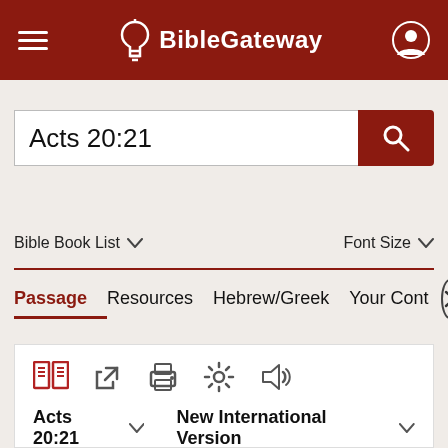BibleGateway
Acts 20:21
New International Version (NIV)
Bible Book List ∨   Font Size ∨
Passage   Resources   Hebrew/Greek   Your Cont >
Acts 20:21 ∨   New International Version ∨